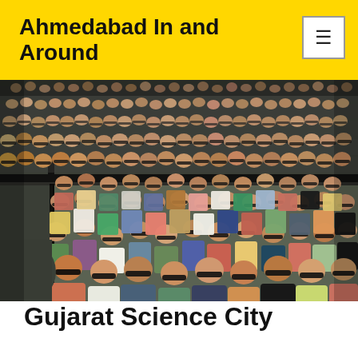Ahmedabad In and Around
[Figure (photo): Large auditorium filled with a crowd of people wearing 3D glasses, seated in rows of dark chairs across multiple tiers, appears to be at Gujarat Science City.]
Gujarat Science City